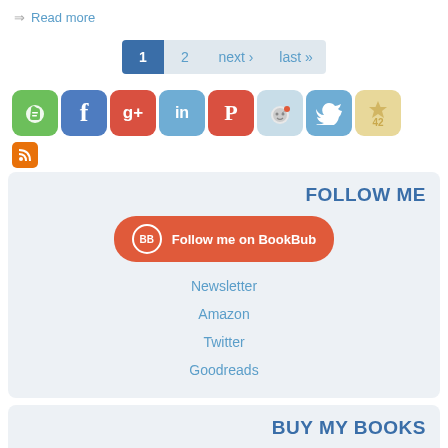=> Read more
[Figure (infographic): Pagination bar with buttons: 1 (active/dark blue), 2, next ›, last »]
[Figure (infographic): Social media icons row: Evernote, Facebook, Google+, LinkedIn, Pinterest, Reddit, Twitter, Star(42), RSS feed]
FOLLOW ME
[Figure (infographic): BookBub follow button (red/orange rounded rectangle with BB logo)]
Newsletter
Amazon
Twitter
Goodreads
BUY MY BOOKS
Your favourite retailer
My bookstore